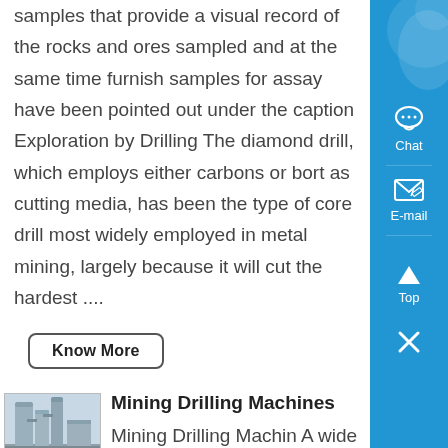samples that provide a visual record of the rocks and ores sampled and at the same time furnish samples for assay have been pointed out under the caption Exploration by Drilling The diamond drill, which employs either carbons or bort as cutting media, has been the type of core drill most widely employed in metal mining, largely because it will cut the hardest ....
Know More
[Figure (photo): Industrial mining/drilling machinery equipment, showing tall industrial structures and equipment]
Mining Drilling Machines
Mining Drilling Machin A wide range of drilling solutions equipment and products for mines and public works cmm are mainly used in underground